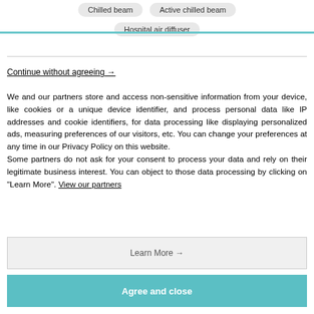Chilled beam   Active chilled beam
Hospital air diffuser
Continue without agreeing →
We and our partners store and access non-sensitive information from your device, like cookies or a unique device identifier, and process personal data like IP addresses and cookie identifiers, for data processing like displaying personalized ads, measuring preferences of our visitors, etc. You can change your preferences at any time in our Privacy Policy on this website.
Some partners do not ask for your consent to process your data and rely on their legitimate business interest. You can object to those data processing by clicking on "Learn More". View our partners
Learn More →
Agree and close